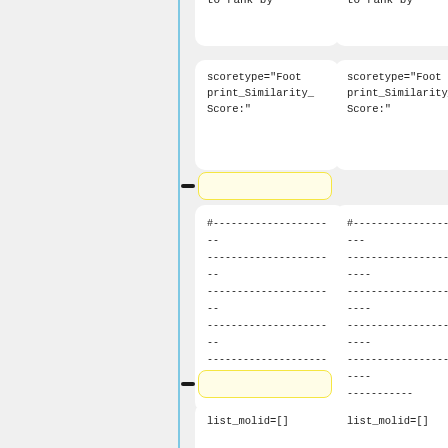[Figure (flowchart): Flowchart showing two parallel code branches with rounded white boxes containing Python-like code snippets, connected by yellow connector boxes with minus icons. Left column and right column show identical code nodes for: 'to rank by', 'scoretype=Footprint_Similarity_Score:', comment dashes block, and 'list_molid=[] / #create a list to store molecule ids'. A vertical blue line runs down the left side.]